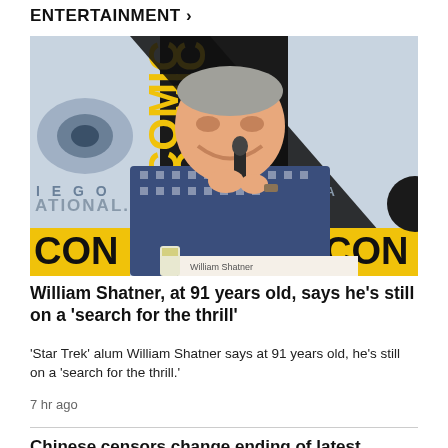ENTERTAINMENT >
[Figure (photo): William Shatner smiling and speaking into a microphone at a Comic-Con panel, seated behind a nameplate reading 'William Shatner', wearing a blue and white checked shirt. Comic-Con International San Diego banner visible in background.]
William Shatner, at 91 years old, says he's still on a 'search for the thrill'
'Star Trek' alum William Shatner says at 91 years old, he's still on a 'search for the thrill.'
7 hr ago
Chinese censors change ending of latest